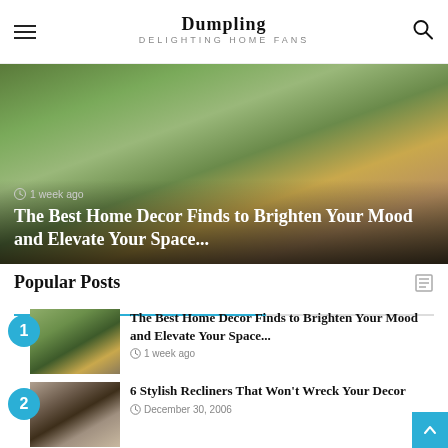Dumpling DELIGHTING HOME FANS
[Figure (photo): Hero image of a stylish home decor room with plants and furniture]
The Best Home Decor Finds to Brighten Your Mood and Elevate Your Space...
1 week ago
Popular Posts
The Best Home Decor Finds to Brighten Your Mood and Elevate Your Space... 1 week ago
6 Stylish Recliners That Won't Wreck Your Decor December 30, 2006
Home furnishings Rental Baron Identified a Way to Get Loaded Slowly and gradually December 30, 2006